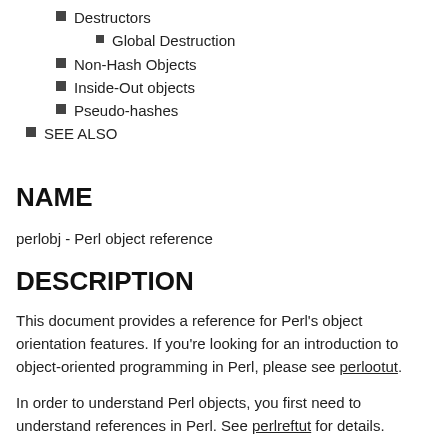Destructors
Global Destruction
Non-Hash Objects
Inside-Out objects
Pseudo-hashes
SEE ALSO
NAME
perlobj - Perl object reference
DESCRIPTION
This document provides a reference for Perl's object orientation features. If you're looking for an introduction to object-oriented programming in Perl, please see perlootut.
In order to understand Perl objects, you first need to understand references in Perl. See perlreftut for details.
This document describes all of Perl's object-oriented...